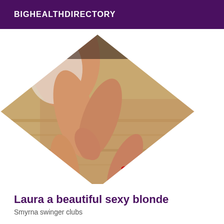BIGHEALTHDIRECTORY
[Figure (photo): A photo of a woman's legs in red high heels, displayed in a diamond/rotated square crop against a white background]
Laura a beautiful sexy blonde
Smyrna swinger clubs